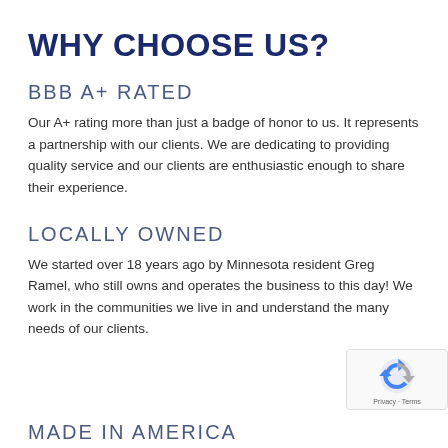WHY CHOOSE US?
BBB A+ RATED
Our A+ rating more than just a badge of honor to us. It represents a partnership with our clients. We are dedicating to providing quality service and our clients are enthusiastic enough to share their experience.
LOCALLY OWNED
We started over 18 years ago by Minnesota resident Greg Ramel, who still owns and operates the business to this day! We work in the communities we live in and understand the many needs of our clients.
MADE IN AMERICA